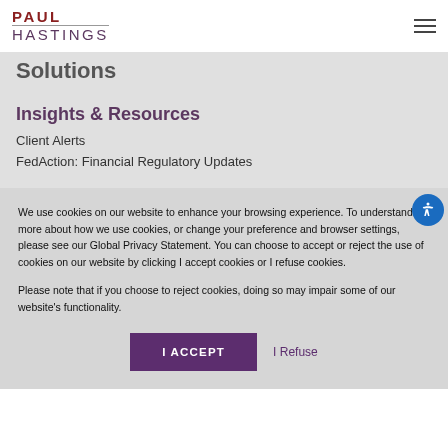PAUL HASTINGS
Solutions
Insights & Resources
Client Alerts
FedAction: Financial Regulatory Updates
We use cookies on our website to enhance your browsing experience. To understand more about how we use cookies, or change your preference and browser settings, please see our Global Privacy Statement. You can choose to accept or reject the use of cookies on our website by clicking I accept cookies or I refuse cookies.
Please note that if you choose to reject cookies, doing so may impair some of our website's functionality.